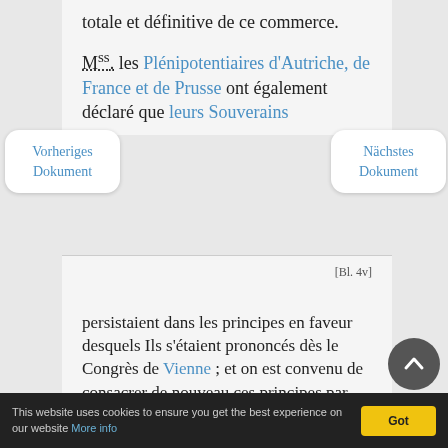totale et définitive de ce commerce.
M.ss. les Plénipotentiaires d'Autriche, de France et de Prusse ont également déclaré que leurs Souverains
Vorheriges Dokument
Nächstes Dokument
[Bl. 4v]
persistaient dans les principes en faveur desquels Ils s'étaient prononcés dès le Congrès de Vienne ; et on est convenu de consacrer de nouveau ces principes par une déclaration analogue à celle du 8 Février 1815.
Quant aux mesures particulières
This website uses cookies to ensure you get the best experience on our website More info